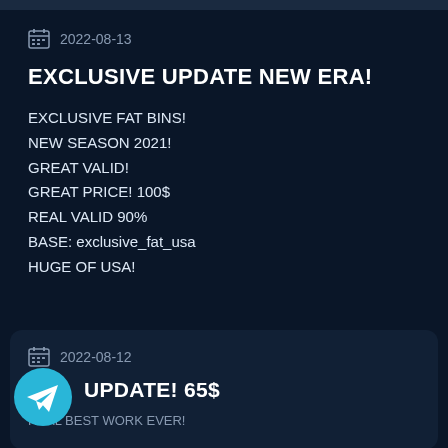2022-08-13
EXCLUSIVE UPDATE NEW ERA!
EXCLUSIVE FAT BINS!
NEW SEASON 2021!
GREAT VALID!
GREAT PRICE! 100$
REAL VALID 90%
BASE: exclusive_fat_usa
HUGE OF USA!
2022-08-12
UPDATE! 65$
REAL BEST WORK EVER!